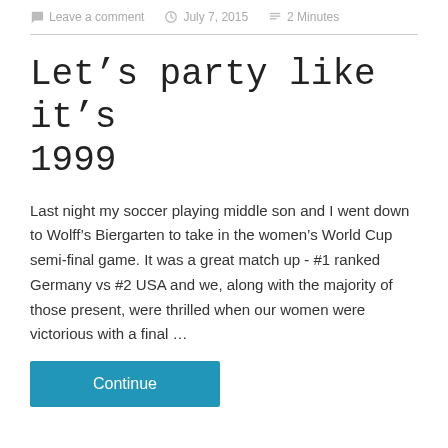Leave a comment   July 7, 2015   2 Minutes
Let’s party like it’s 1999
Last night my soccer playing middle son and I went down to Wolff’s Biergarten to take in the women’s World Cup semi-final game. It was a great match up - #1 ranked Germany vs #2 USA and we, along with the majority of those present, were thrilled when our women were victorious with a final …
Continue